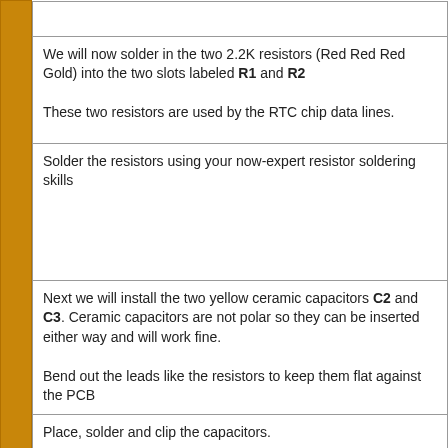We will now solder in the two 2.2K resistors (Red Red Red Gold) into the two slots labeled R1 and R2

These two resistors are used by the RTC chip data lines.
Solder the resistors using your now-expert resistor soldering skills
Next we will install the two yellow ceramic capacitors C2 and C3. Ceramic capacitors are not polar so they can be inserted either way and will work fine.

Bend out the leads like the resistors to keep them flat against the PCB
Place, solder and clip the capacitors.
Next are the electrolytic capacitors C1 and C4.